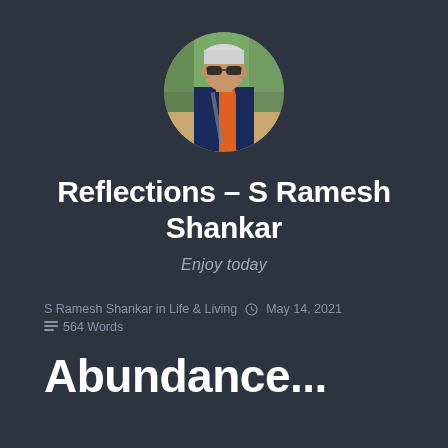[Figure (photo): Circular avatar photo of S Ramesh Shankar, a man with grey hair wearing sunglasses and a dark blue polo shirt with a diagonal orange/red stripe, photographed outdoors.]
Reflections – S Ramesh Shankar
Enjoy today
S Ramesh Shankar in Life & Living  ⊙ May 14, 2021  ≡  564 Words
Abundance...